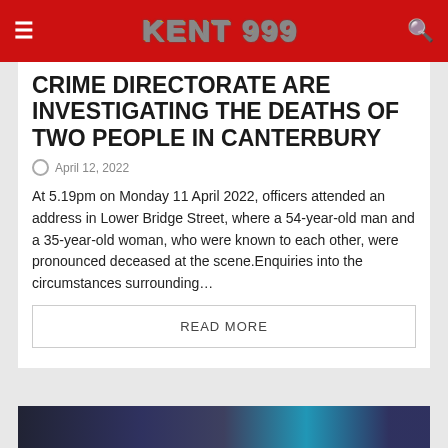KENT 999
CRIME DIRECTORATE ARE INVESTIGATING THE DEATHS OF TWO PEOPLE IN CANTERBURY
April 12, 2022
At 5.19pm on Monday 11 April 2022, officers attended an address in Lower Bridge Street, where a 54-year-old man and a 35-year-old woman, who were known to each other, were pronounced deceased at the scene.Enquiries into the circumstances surrounding…
READ MORE
[Figure (photo): Bottom partial image of a scene, dark blue tones]